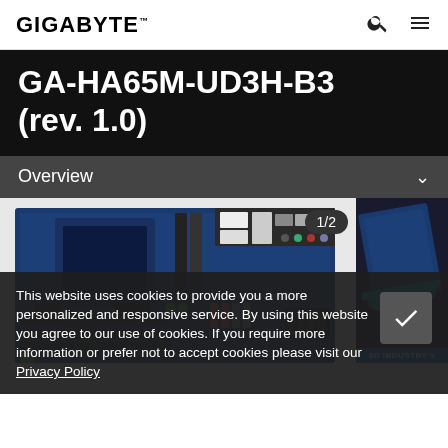GIGABYTE™
GA-HA65M-UD3H-B3 (rev. 1.0)
Overview
[Figure (photo): Photo of the GA-HA65M-UD3H-B3 motherboard (rev. 1.0), shown from above, with a badge reading 1/2 and a 3D INDUSTRY side panel visible on the right.]
This website uses cookies to provide you a more personalized and responsive service. By using this website you agree to our use of cookies. If you require more information or prefer not to accept cookies please visit our Privacy Policy